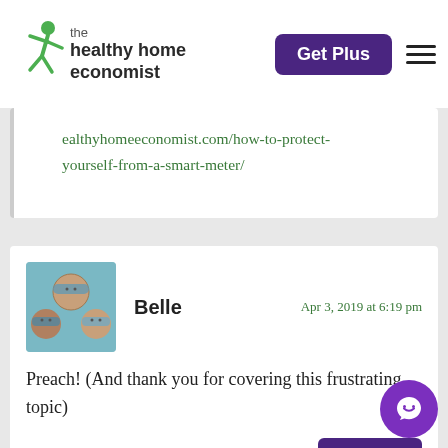the healthy home economist
ealthyhomeeconomist.com/how-to-protect-yourself-from-a-smart-meter/
Belle
Apr 3, 2019 at 6:19 pm
Preach! (And thank you for covering this frustrating topic)
REPLY